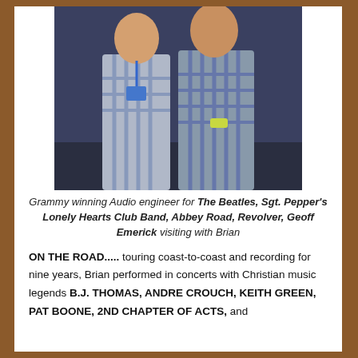[Figure (photo): Two men standing together; one wearing a blue lanyard/badge, both wearing plaid/checkered shirts. Indoor setting with blue/dark background.]
Grammy winning Audio engineer for The Beatles, Sgt. Pepper's Lonely Hearts Club Band, Abbey Road, Revolver, Geoff Emerick visiting with Brian
ON THE ROAD..... touring coast-to-coast and recording for nine years, Brian performed in concerts with Christian music legends B.J. THOMAS, ANDRE CROUCH, KEITH GREEN, PAT BOONE, 2ND CHAPTER OF ACTS, and